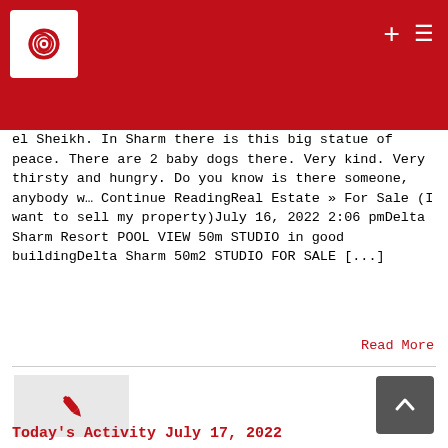el Sheikh. In Sharm there is this big statue of peace. There are 2 baby dogs there. Very kind. Very thirsty and hungry. Do you know is there someone, anybody w... Continue ReadingReal Estate » For Sale (I want to sell my property)July 16, 2022 2:06 pmDelta Sharm Resort POOL VIEW 50m STUDIO in good buildingDelta Sharm 50m2 STUDIO FOR SALE [...]
Read More
17
07, 2022
[Figure (illustration): Red pen/quill icon on grey background]
[Figure (illustration): Dark grey scroll-to-top chevron button]
Today's Activity July 17, 2022